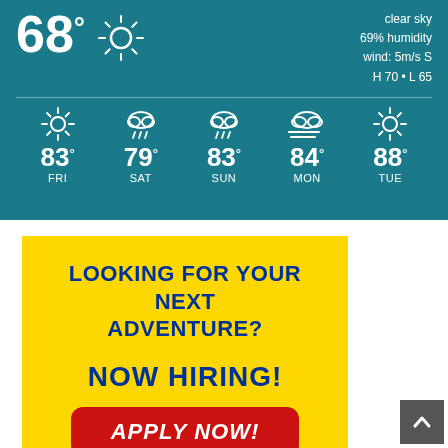[Figure (infographic): Weather widget showing current temperature 68°F with sun icon, clear sky, 69% humidity, wind 5m/s S, H 70 L 65, and 5-day forecast: FRI 83°, SAT 79°, SUN 83°, MON 84°, TUE 88° with weather icons]
[Figure (infographic): Yellow hiring advertisement: LOOKING FOR YOUR NEXT ADVENTURE? NOW HIRING! APPLY NOW! button in red]
[Figure (infographic): Gray scroll-to-top button with upward chevron arrow]